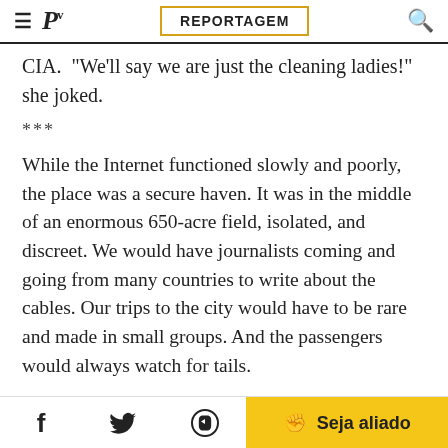REPORTAGEM
CIA. "We'll say we are just the cleaning ladies!" she joked.
***
While the Internet functioned slowly and poorly, the place was a secure haven. It was in the middle of an enormous 650-acre field, isolated, and discreet. We would have journalists coming and going from many countries to write about the cables. Our trips to the city would have to be rare and made in small groups. And the passengers would always watch for tails.
We only talked about the Swedish case once or twice. We knew that if Interpol issued an international arrest warrant,
Seja aliado